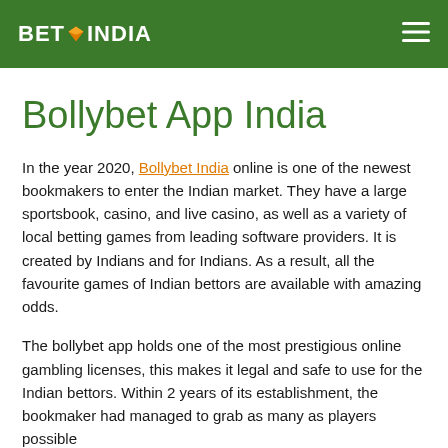BET INDIA
Bollybet App India
In the year 2020, Bollybet India online is one of the newest bookmakers to enter the Indian market. They have a large sportsbook, casino, and live casino, as well as a variety of local betting games from leading software providers. It is created by Indians and for Indians. As a result, all the favourite games of Indian bettors are available with amazing odds.
The bollybet app holds one of the most prestigious online gambling licenses, this makes it legal and safe to use for the Indian bettors. Within 2 years of its establishment, the bookmaker had managed to grab as many as players possible